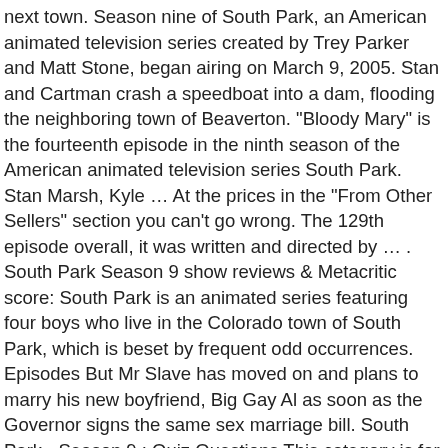next town. Season nine of South Park, an American animated television series created by Trey Parker and Matt Stone, began airing on March 9, 2005. Stan and Cartman crash a speedboat into a dam, flooding the neighboring town of Beaverton. "Bloody Mary" is the fourteenth episode in the ninth season of the American animated television series South Park. Stan Marsh, Kyle … At the prices in the "From Other Sellers" section you can't go wrong. The 129th episode overall, it was written and directed by … . South Park Season 9 show reviews & Metacritic score: South Park is an animated series featuring four boys who live in the Colorado town of South Park, which is beset by frequent odd occurrences. Episodes But Mr Slave has moved on and plans to marry his new boyfriend, Big Gay Al as soon as the Governor signs the same sex marriage bill. South Park - Season 9 : Quiz Questions This category is for questions and answers related to 'South Park' - Season 9, as asked by users of FunTrivia.com. 349k. The kids desperately want an end to the boring baseball season. Season Premiere 2005-03-10T03:00:00Z 9x01 Mr. Garrison's Fancy New